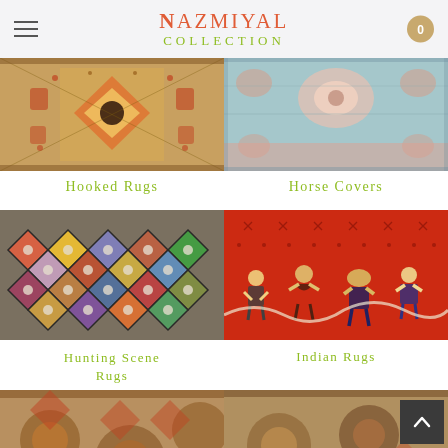Nazmiyal Collection
[Figure (photo): Close-up of a Hooked Rug with geometric and floral patterns in gold, red, and dark tones]
[Figure (photo): Close-up of a Horse Cover rug with floral medallion patterns in blue, pink, and cream tones]
Hooked Rugs
Horse Covers
[Figure (photo): Close-up of a Hunting Scene Rug with colorful diamond lattice pattern in multicolor tones]
[Figure (photo): Close-up of an Indian Rug in bright red with figures and animal motifs]
Hunting Scene Rugs
Indian Rugs
[Figure (photo): Partial view of another rug at the bottom left]
[Figure (photo): Partial view of an Indian Rug at the bottom right, partially obscured by back-to-top button]